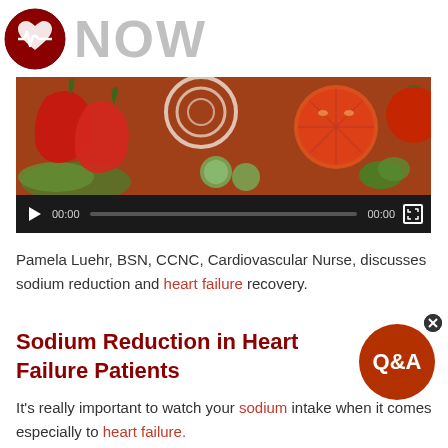[Figure (logo): Heart monitor logo circle in dark red with heartbeat line, next to large gray text 'NOW']
[Figure (screenshot): Video player showing vegetables (tomatoes, peppers, cucumbers) with black control bar showing play button, 00:00 timecodes, progress bar, and fullscreen icon]
Pamela Luehr, BSN, CCNC, Cardiovascular Nurse, discusses sodium reduction and heart failure recovery.
Sodium Reduction in Heart Failure Patients
[Figure (illustration): Dark red circular Q&A badge with white text 'Q&A' and a small X close button]
It's really important to watch your sodium intake when it comes especially to heart failure.